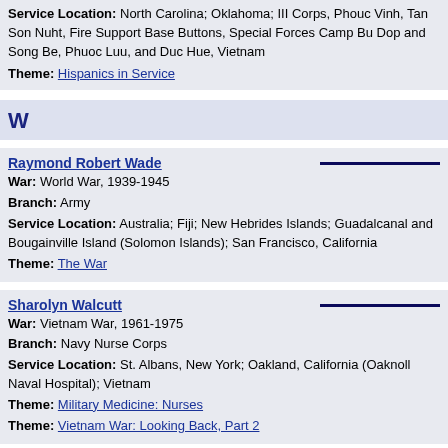Service Location: North Carolina; Oklahoma; III Corps, Phouc Vinh, Tan Son Nuht, Fire Support Base Buttons, Special Forces Camp Bu Dop and Song Be, Phuoc Luu, and Duc Hue, Vietnam
Theme: Hispanics in Service
W
Raymond Robert Wade
War: World War, 1939-1945
Branch: Army
Service Location: Australia; Fiji; New Hebrides Islands; Guadalcanal and Bougainville Island (Solomon Islands); San Francisco, California
Theme: The War
Sharolyn Walcutt
War: Vietnam War, 1961-1975
Branch: Navy Nurse Corps
Service Location: St. Albans, New York; Oakland, California (Oaknoll Naval Hospital); Vietnam
Theme: Military Medicine: Nurses
Theme: Vietnam War: Looking Back, Part 2
Bertran F. Wallace
War: World War, 1939-1945; Korean War, 1950-1953
Branch: Army; Army
Service Location: Fort Riley, Kansas; Fort Devens, Massachusetts; North Africa; Italy; New York; Korea; also: Koje-Jo Island, Korea
Theme: Forever a Soldier